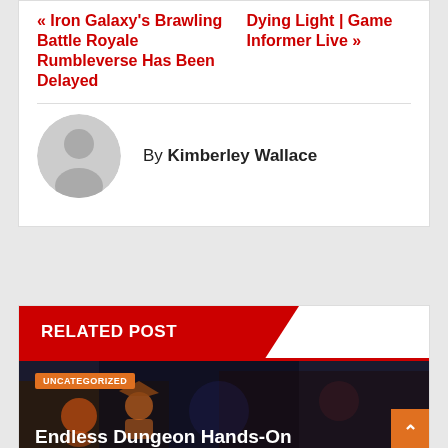« Iron Galaxy's Brawling Battle Royale Rumbleverse Has Been Delayed
Dying Light | Game Informer Live »
By Kimberley Wallace
[Figure (illustration): Default user avatar: grey circle with silhouette of a person]
RELATED POST
[Figure (screenshot): Dark game screenshot showing animated characters; badge reading UNCATEGORIZED; partial title text 'Endless Dungeon Hands-On']